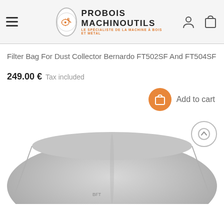[Figure (logo): Probois Machinoutils logo with circular emblem, company name in bold black, and orange tagline 'LE SPÉCIALISTE DE LA MACHINE À BOIS ET MÉTAL']
Filter Bag For Dust Collector Bernardo FT502SF And FT504SF
249.00 € Tax included
Add to cart
[Figure (photo): Grey fabric filter bag for dust collector, partially visible from above, gray background]